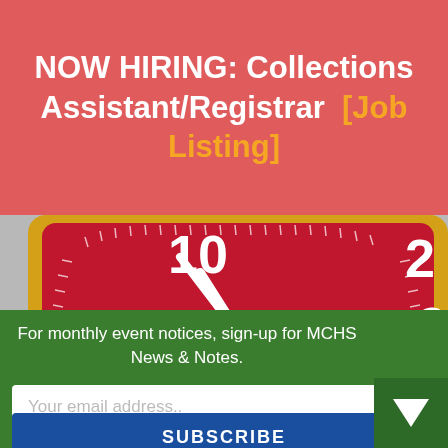NOW HIRING: Collections Assistant/Registrar  [Job Listing]
[Figure (photo): Close-up photo of a red square wall clock with gold/yellow frame showing white numerals. Clock hands point to approximately 10:10. Numbers 7, 6, 5, 4, 3, 2, 9, 8, 10 are visible on the red face.]
For monthly event notices, sign-up for MCHS News & Notes.
Your email address..
SUBSCRIBE